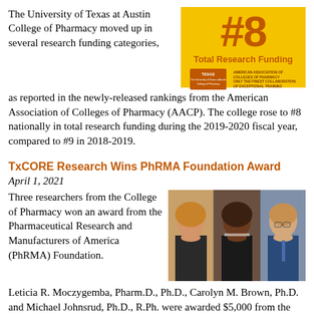The University of Texas at Austin College of Pharmacy moved up in several research funding categories, as reported in the newly-released rankings from the American Association of Colleges of Pharmacy (AACP). The college rose to #8 nationally in total research funding during the 2019-2020 fiscal year, compared to #9 in 2018-2019.
[Figure (infographic): #8 Total Research Funding badge in yellow and burnt orange, with University of Texas and AACP logos]
TxCORE Research Wins PhRMA Foundation Award
April 1, 2021
Three researchers from the College of Pharmacy won an award from the Pharmaceutical Research and Manufacturers of America (PhRMA) Foundation. Leticia R. Moczygemba, Pharm.D., Ph.D., Carolyn M. Brown, Ph.D. and Michael Johnsrud, Ph.D., R.Ph. were awarded $5,000 from the PhRMA Foundation for their
[Figure (photo): Photo of three researchers: a woman with blonde hair, a woman with dark hair, and a man in a blue tie]